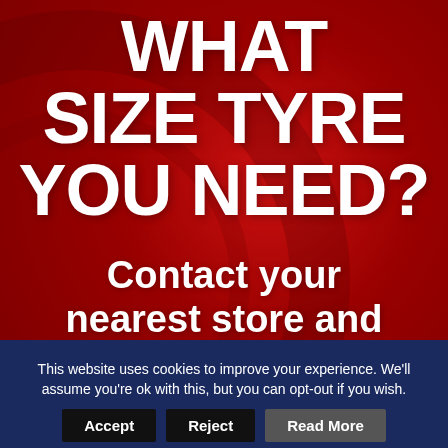[Figure (illustration): Red background with tyre/wheel visible, serving as backdrop for promotional text about tyre sizing]
WHAT SIZE TYRE YOU NEED?
Contact your nearest store and
This website uses cookies to improve your experience. We'll assume you're ok with this, but you can opt-out if you wish.